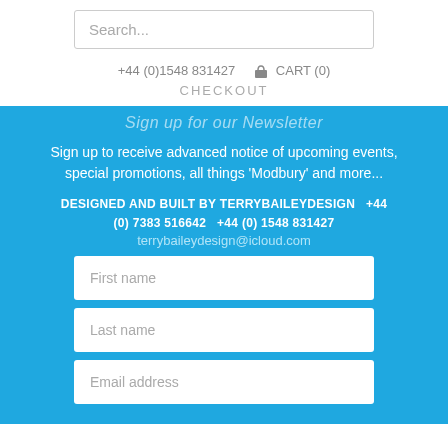Search...
+44 (0)1548 831427   🛒 CART (0)
CHECKOUT
Sign up for our Newsletter
Sign up to receive advanced notice of upcoming events, special promotions, all things 'Modbury' and more...
DESIGNED AND BUILT BY TERRYBAILEYDESIGN   +44 (0) 7383 516642   +44 (0) 1548 831427
terrybaileydesign@icloud.com
First name
Last name
Email address